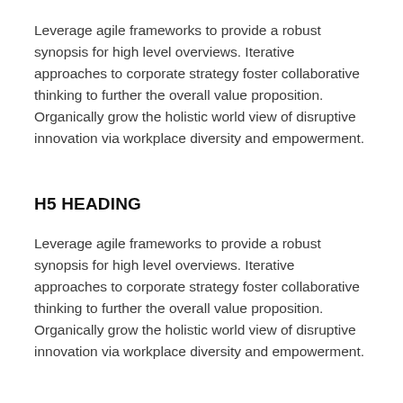Leverage agile frameworks to provide a robust synopsis for high level overviews. Iterative approaches to corporate strategy foster collaborative thinking to further the overall value proposition. Organically grow the holistic world view of disruptive innovation via workplace diversity and empowerment.
H5 HEADING
Leverage agile frameworks to provide a robust synopsis for high level overviews. Iterative approaches to corporate strategy foster collaborative thinking to further the overall value proposition. Organically grow the holistic world view of disruptive innovation via workplace diversity and empowerment.
H6 HEADING
Leverage agile frameworks to provide a robust synopsis for